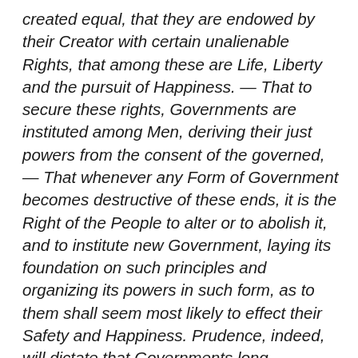created equal, that they are endowed by their Creator with certain unalienable Rights, that among these are Life, Liberty and the pursuit of Happiness. — That to secure these rights, Governments are instituted among Men, deriving their just powers from the consent of the governed, — That whenever any Form of Government becomes destructive of these ends, it is the Right of the People to alter or to abolish it, and to institute new Government, laying its foundation on such principles and organizing its powers in such form, as to them shall seem most likely to effect their Safety and Happiness. Prudence, indeed, will dictate that Governments long established should not be changed for light and transient causes; and accordingly all experience hath shewn that mankind are more disposed to suffer, while evils are sufferable than to right themselves by abolishing the forms to which they are